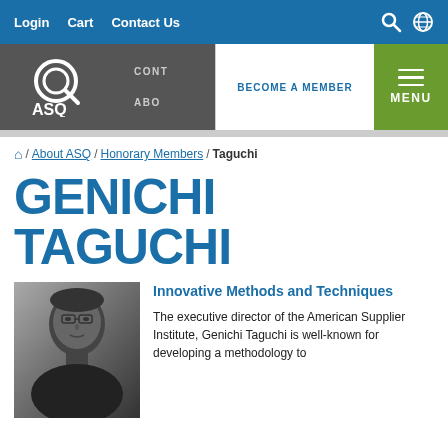Login  Cart  Contact Us
[Figure (logo): ASQ logo with circular Q icon and ASQ text in white on gray background]
BECOME A MEMBER
MENU
/ About ASQ / Honorary Members / Taguchi
GENICHI TAGUCHI
[Figure (photo): Black and white portrait photo of Genichi Taguchi]
Innovative Methods and Techniques
The executive director of the American Supplier Institute, Genichi Taguchi is well-known for developing a methodology to